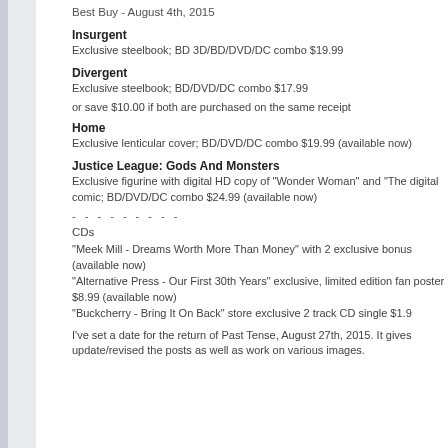Best Buy - August 4th, 2015
Insurgent
Exclusive steelbook; BD 3D/BD/DVD/DC combo $19.99
Divergent
Exclusive steelbook; BD/DVD/DC combo $17.99
or save $10.00 if both are purchased on the same receipt
Home
Exclusive lenticular cover; BD/DVD/DC combo $19.99 (available now)
Justice League: Gods And Monsters
Exclusive figurine with digital HD copy of "Wonder Woman" and "The digital comic; BD/DVD/DC combo $24.99 (available now)
- - - - - - - - -
CDs
"Meek Mill - Dreams Worth More Than Money" with 2 exclusive bonus (available now)
"Alternative Press - Our First 30th Years" exclusive, limited edition fan poster $8.99 (available now)
"Buckcherry - Bring It On Back" store exclusive 2 track CD single $1.9
I've set a date for the return of Past Tense, August 27th, 2015. It gives update/revised the posts as well as work on various images.